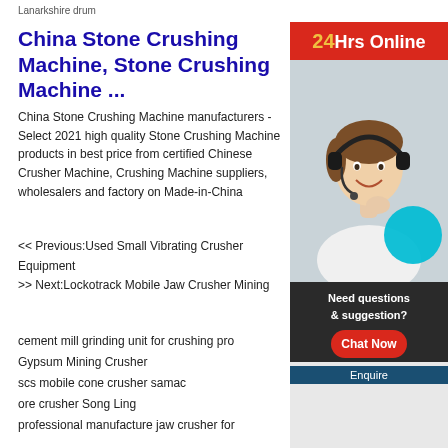Lanarkshire drum
China Stone Crushing Machine, Stone Crushing Machine ...
China Stone Crushing Machine manufacturers - Select 2021 high quality Stone Crushing Machine products in best price from certified Chinese Crusher Machine, Crushing Machine suppliers, wholesalers and factory on Made-in-China
<< Previous:Used Small Vibrating Crusher Equipment
>> Next:Lockotrack Mobile Jaw Crusher Mining
cement mill grinding unit for crushing pro
Gypsum Mining Crusher
scs mobile cone crusher samac
ore crusher Song Ling
professional manufacture jaw crusher for
[Figure (photo): Customer service representative with headset, smiling. Sidebar widget with red '24Hrs Online' banner, photo with cyan circle overlay, dark 'Need questions & suggestion?' panel with red 'Chat Now' button and blue 'Enquire' bar.]